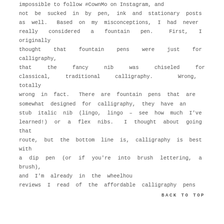impossible to follow #CownMo on Instagram, and not be sucked in by pen, ink and stationary posts as well. Based on my misconceptions, I had never really considered a fountain pen. First, I originally thought that fountain pens were just for calligraphy, that the fancy nib was chiseled for classical, traditional calligraphy. Wrong, totally wrong in fact. There are fountain pens that are somewhat designed for calligraphy, they have an stub italic nib (lingo, lingo – see how much I've learned!) or a flex nibs. I thought about going that route, but the bottom line is, calligraphy is best with a dip pen (or if you're into brush lettering, a brush), and I'm already in the wheelhou
BACK TO TOP
reviews I read of the affordable calligraphy pens